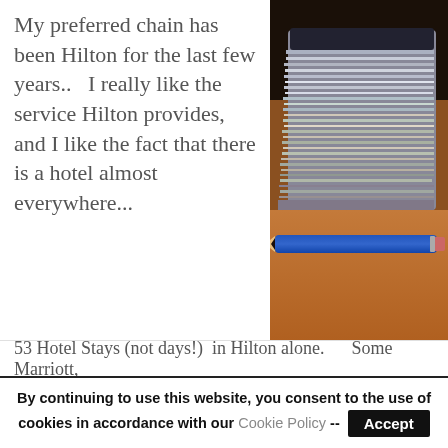My preferred chain has been Hilton for the last few years..   I really like the service Hilton provides, and I like the fact that there is a hotel almost everywhere...
[Figure (photo): A stack of hotel key cards or business cards piled high on a wooden table, with a blue pencil lying in front of them. The image has a warm, slightly vintage tone.]
53 Hotel Stays (not days!)  in Hilton alone.      Some Marriott,
By continuing to use this website, you consent to the use of cookies in accordance with our Cookie Policy -- Accept